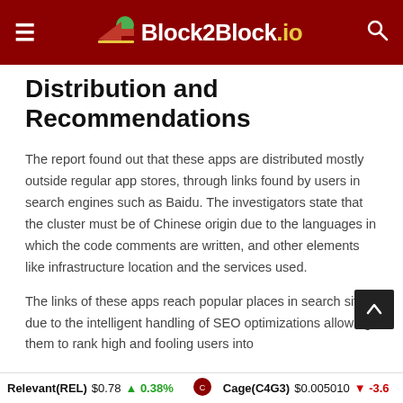Block2Block.io
Distribution and Recommendations
The report found out that these apps are distributed mostly outside regular app stores, through links found by users in search engines such as Baidu. The investigators state that the cluster must be of Chinese origin due to the languages in which the code comments are written, and other elements like infrastructure location and the services used.
The links of these apps reach popular places in search sites due to the intelligent handling of SEO optimizations allowing them to rank high and fooling users into
Relevant(REL) $0.78 ↑ 0.38%   Cage(C4G3) $0.005010 ↓ -3.6